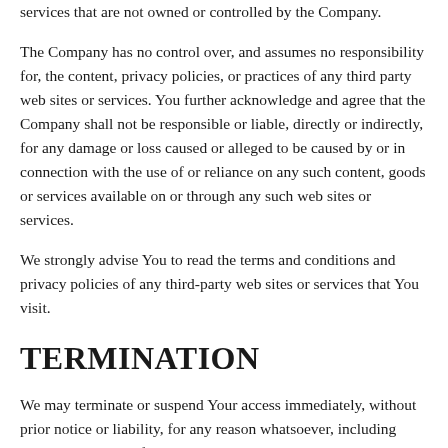services that are not owned or controlled by the Company.
The Company has no control over, and assumes no responsibility for, the content, privacy policies, or practices of any third party web sites or services. You further acknowledge and agree that the Company shall not be responsible or liable, directly or indirectly, for any damage or loss caused or alleged to be caused by or in connection with the use of or reliance on any such content, goods or services available on or through any such web sites or services.
We strongly advise You to read the terms and conditions and privacy policies of any third-party web sites or services that You visit.
TERMINATION
We may terminate or suspend Your access immediately, without prior notice or liability, for any reason whatsoever, including without limitation if You breach these Terms and Conditions.
Upon termination, Your right to use the Service will cease